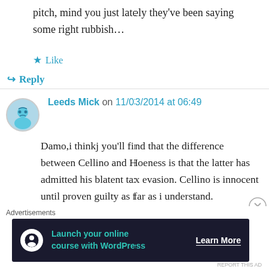pitch, mind you just lately they've been saying some right rubbish…
★ Like
↳ Reply
Leeds Mick on 11/03/2014 at 06:49
Damo,i thinkj you'll find that the difference between Cellino and Hoeness is that the latter has admitted his blatent tax evasion. Cellino is innocent until proven guilty as far as i understand. Obviously your visit to the pub to clear your head was a short exercise due to the
Advertisements
Launch your online course with WordPress   Learn More